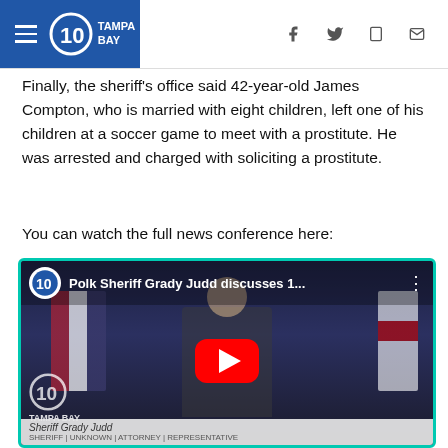[Figure (screenshot): 10 Tampa Bay news website header with hamburger menu, logo, and social media icons (Facebook, Twitter, tablet, mail)]
Finally, the sheriff's office said 42-year-old James Compton, who is married with eight children, left one of his children at a soccer game to meet with a prostitute. He was arrested and charged with soliciting a prostitute.
You can watch the full news conference here:
[Figure (screenshot): Embedded YouTube video thumbnail showing Polk Sheriff Grady Judd discusses 1... with a play button overlay. A sheriff in uniform stands at a podium with American and Florida flags behind him. 10 Tampa Bay logo in bottom left. Lower third caption reads 'Sheriff Grady Judd'.]